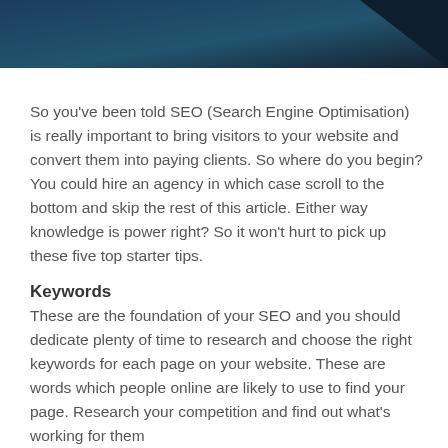[Figure (other): Dark blue gradient header bar with decorative triangle in top-right corner]
So you've been told SEO (Search Engine Optimisation) is really important to bring visitors to your website and convert them into paying clients. So where do you begin? You could hire an agency in which case scroll to the bottom and skip the rest of this article. Either way knowledge is power right? So it won't hurt to pick up these five top starter tips.
Keywords
These are the foundation of your SEO and you should dedicate plenty of time to research and choose the right keywords for each page on your website. These are words which people online are likely to use to find your page. Research your competition and find out what's working for them